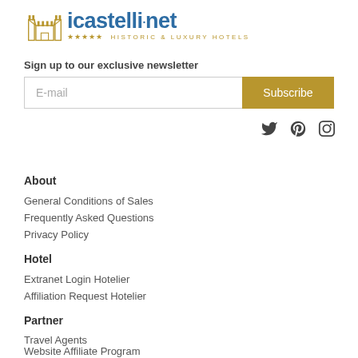[Figure (logo): icastelli.net logo with castle icon, blue text and gold stars, subtitle HISTORIC & LUXURY HOTELS]
Sign up to our exclusive newsletter
E-mail  Subscribe
[Figure (other): Social media icons: Twitter, Pinterest, Instagram]
About
General Conditions of Sales
Frequently Asked Questions
Privacy Policy
Hotel
Extranet Login Hotelier
Affiliation Request Hotelier
Partner
Travel Agents
Website Affiliate Program